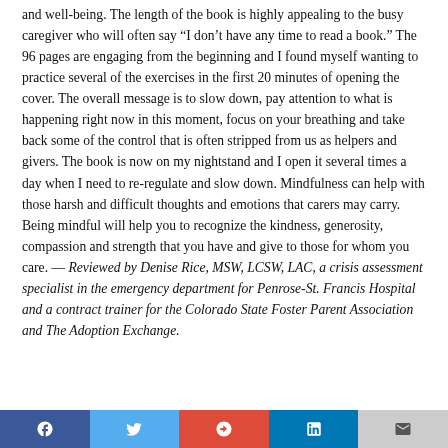and well-being. The length of the book is highly appealing to the busy caregiver who will often say “I don’t have any time to read a book.” The 96 pages are engaging from the beginning and I found myself wanting to practice several of the exercises in the first 20 minutes of opening the cover. The overall message is to slow down, pay attention to what is happening right now in this moment, focus on your breathing and take back some of the control that is often stripped from us as helpers and givers. The book is now on my nightstand and I open it several times a day when I need to re-regulate and slow down. Mindfulness can help with those harsh and difficult thoughts and emotions that carers may carry. Being mindful will help you to recognize the kindness, generosity, compassion and strength that you have and give to those for whom you care. — Reviewed by Denise Rice, MSW, LCSW, LAC, a crisis assessment specialist in the emergency department for Penrose-St. Francis Hospital and a contract trainer for the Colorado State Foster Parent Association and The Adoption Exchange.
[Figure (infographic): Social media sharing bar with Facebook, Twitter, Google+, LinkedIn, and email buttons]